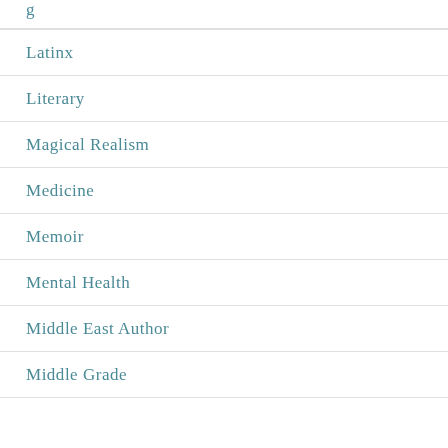Latinx
Literary
Magical Realism
Medicine
Memoir
Mental Health
Middle East Author
Middle Grade